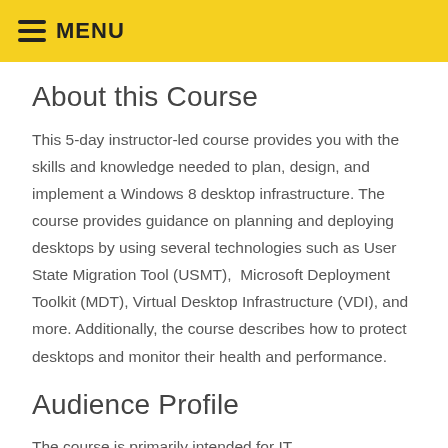≡ MENU
About this Course
This 5-day instructor-led course provides you with the skills and knowledge needed to plan, design, and implement a Windows 8 desktop infrastructure. The course provides guidance on planning and deploying desktops by using several technologies such as User State Migration Tool (USMT), Microsoft Deployment Toolkit (MDT), Virtual Desktop Infrastructure (VDI), and more. Additionally, the course describes how to protect desktops and monitor their health and performance.
Audience Profile
The course is primarily intended for IT